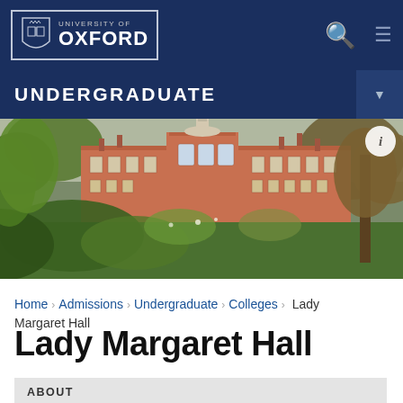[Figure (logo): University of Oxford logo with shield crest and wordmark in white on dark blue background]
UNDERGRADUATE
[Figure (photo): Exterior photograph of Lady Margaret Hall, Oxford — a large red-brick Georgian building with white cupola, viewed from the garden with trees and foliage in the foreground]
Home › Admissions › Undergraduate › Colleges › Lady Margaret Hall
Lady Margaret Hall
ABOUT